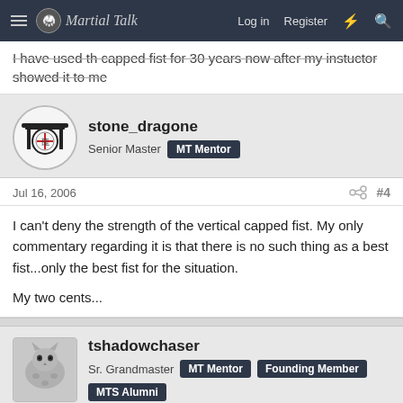Martial Talk — Log in | Register
I have used th capped fist for 30 years now after my instuctor showed it to me
stone_dragone
Senior Master  MT Mentor
Jul 16, 2006  #4
I can't deny the strength of the vertical capped fist. My only commentary regarding it is that there is no such thing as a best fist...only the best fist for the situation.

My two cents...
tshadowchaser
Sr. Grandmaster  MT Mentor  Founding Member  MTS Alumni